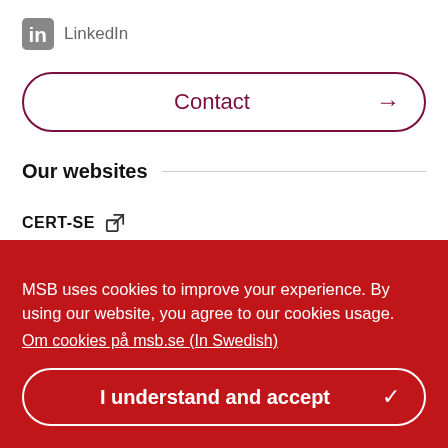[Figure (logo): LinkedIn 'in' icon in grey]
LinkedIn
Contact →
Our websites
CERT-SE [external link icon]
MSB uses cookies to improve your experience. By using our website, you agree to our cookies usage.
Om cookies på msb.se (In Swedish)
I understand and accept ✓